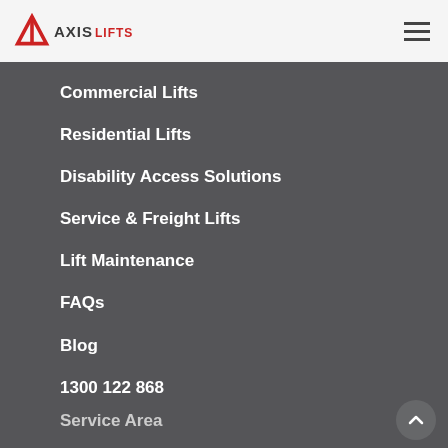Axis Lifts
Commercial Lifts
Residential Lifts
Disability Access Solutions
Service & Freight Lifts
Lift Maintenance
FAQs
Blog
1300 122 868
Service Area